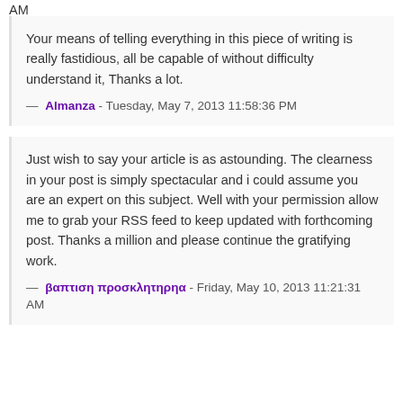Your means of telling everything in this piece of writing is really fastidious, all be capable of without difficulty understand it, Thanks a lot.
— Almanza - Tuesday, May 7, 2013 11:58:36 PM
Just wish to say your article is as astounding. The clearness in your post is simply spectacular and i could assume you are an expert on this subject. Well with your permission allow me to grab your RSS feed to keep updated with forthcoming post. Thanks a million and please continue the gratifying work.
— βαπτιση προσκλητηρηα - Friday, May 10, 2013 11:21:31 AM